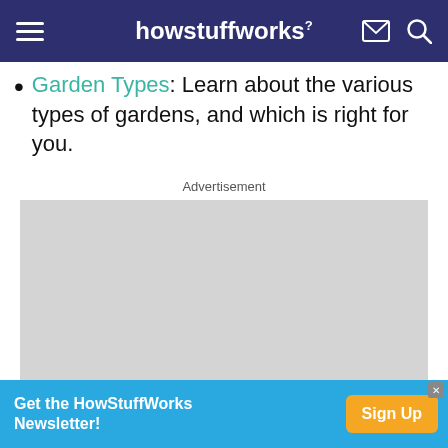howstuffworks
Garden Types: Learn about the various types of gardens, and which is right for you.
Advertisement
[Figure (other): Gray advertisement placeholder box]
Get the HowStuffWorks Newsletter! Sign Up